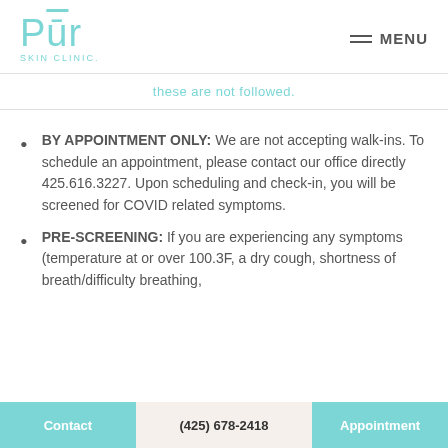[Figure (logo): Pūr Skin Clinic logo in teal/cyan color]
MENU
these are not followed.
BY APPOINTMENT ONLY: We are not accepting walk-ins. To schedule an appointment, please contact our office directly 425.616.3227. Upon scheduling and check-in, you will be screened for COVID related symptoms.
PRE-SCREENING: If you are experiencing any symptoms (temperature at or over 100.3F, a dry cough, shortness of breath/difficulty breathing,
Contact   (425) 678-2418   Appointment